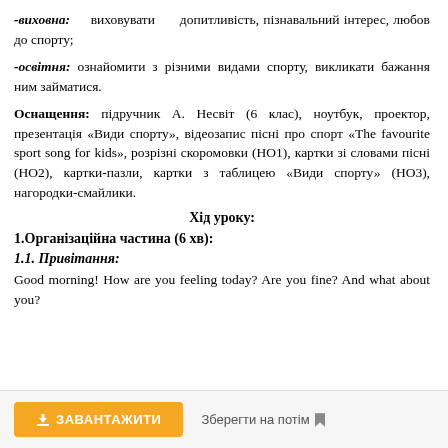-виховна: виховувати допитливість, пізнавальний інтерес, любов до спорту;
-освітня: ознайомити з різними видами спорту, викликати бажання ним займатися.
Оснащення: підручник А. Несвіт (6 клас), ноутбук, проектор, презентація «Види спорту», відеозапис пісні про спорт «The favourite sport song for kids», розрізні скоромовки (НО1), картки зі словами пісні (НО2), картки-пазли, картки з таблицею «Види спорту» (НО3), нагородки-смайлики.
Хід уроку:
1.Організаційна частина (6 хв):
1.1. Привітання:
Good morning! How are you feeling today? Are you fine? And what about you?
ЗАВАНТАЖИТИ    Зберегти на потім